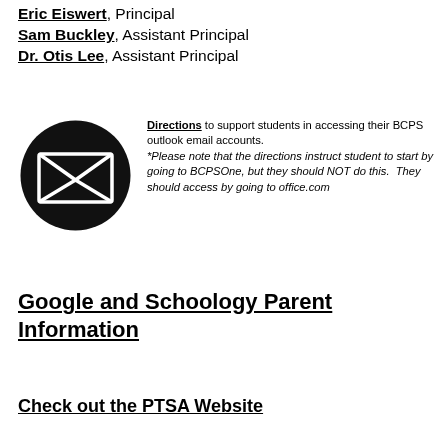Eric Eiswert, Principal
Sam Buckley, Assistant Principal
Dr. Otis Lee, Assistant Principal
[Figure (illustration): Black circle with a white envelope/mail icon in the center]
Directions to support students in accessing their BCPS outlook email accounts. *Please note that the directions instruct student to start by going to BCPSOne, but they should NOT do this.  They should access by going to office.com
Google and Schoology Parent Information
Check out the PTSA Website